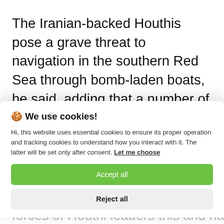The Iranian-backed Houthis pose a grave threat to navigation in the southern Red Sea through bomb-laden boats, he said, adding that a number of such boats were intercepted by the naval forces of the
🍪 We use cookies!

Hi, this website uses essential cookies to ensure its proper operation and tracking cookies to understand how you interact with it. The latter will be set only after consent. Let me choose

[Accept all]

[Reject all]
forces of Houthi leaders this and handled